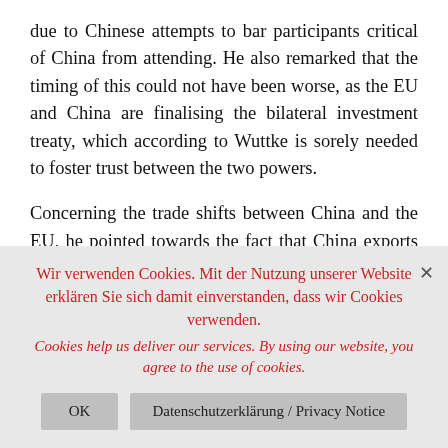due to Chinese attempts to bar participants critical of China from attending. He also remarked that the timing of this could not have been worse, as the EU and China are finalising the bilateral investment treaty, which according to Wuttke is sorely needed to foster trust between the two powers.
Concerning the trade shifts between China and the EU, he pointed towards the fact that China exports much more into the EU than it imports from it. Even terms of trade between China and the EU would, according to him, lead to more interdependence and therefore closer relations, but because China is
Wir verwenden Cookies. Mit der Nutzung unserer Website erklären Sie sich damit einverstanden, dass wir Cookies verwenden.
Cookies help us deliver our services. By using our website, you agree to the use of cookies.